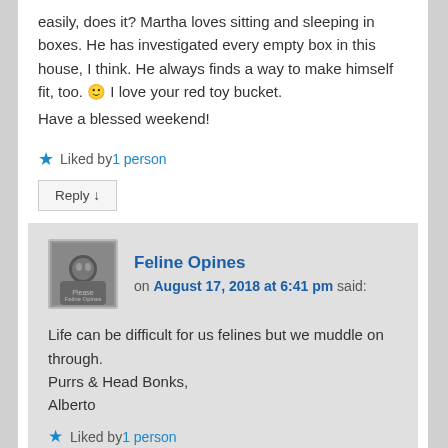easily, does it? Martha loves sitting and sleeping in boxes. He has investigated every empty box in this house, I think. He always finds a way to make himself fit, too. 🙂 I love your red toy bucket.

Have a blessed weekend!
★ Liked by 1 person
Reply ↓
Feline Opines
on August 17, 2018 at 6:41 pm said:
Life can be difficult for us felines but we muddle on through.
Purrs & Head Bonks,
Alberto
★ Liked by 1 person